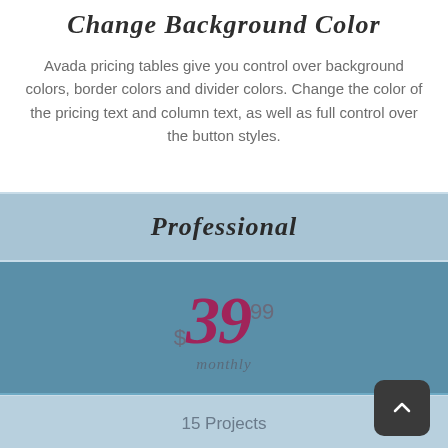Change Background Color
Avada pricing tables give you control over background colors, border colors and divider colors. Change the color of the pricing text and column text, as well as full control over the button styles.
Professional
$39.99 monthly
15 Projects
30 GB Storage